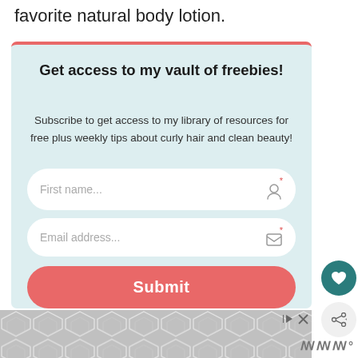favorite natural body lotion.
Get access to my vault of freebies!
Subscribe to get access to my library of resources for free plus weekly tips about curly hair and clean beauty!
First name...
Email address...
Submit
[Figure (other): Advertisement banner with geometric hexagon/diamond pattern in grey and white, with close and play controls]